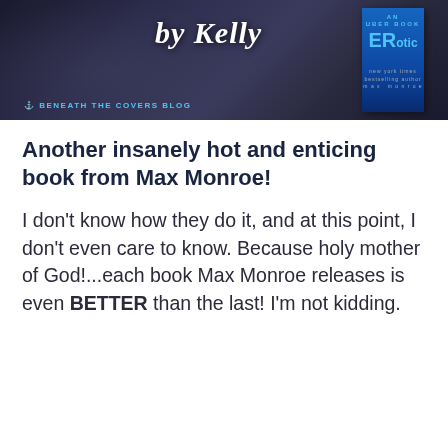[Figure (illustration): Banner image for 'Beneath The Covers Blog' featuring the text 'by Kelly' in stylized script on a dark background, with a book cover for an 'ERotic' novel by Max Monroe on the right side.]
Another insanely hot and enticing book from Max Monroe!
I don't know how they do it, and at this point, I don't even care to know. Because holy mother of God!...each book Max Monroe releases is even BETTER than the last! I'm not kidding.